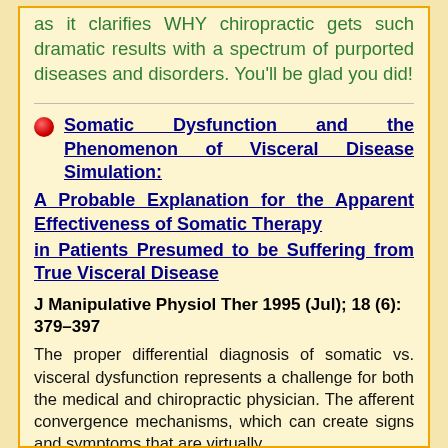as it clarifies WHY chiropractic gets such dramatic results with a spectrum of purported diseases and disorders. You'll be glad you did!
Somatic Dysfunction and the Phenomenon of Visceral Disease Simulation: A Probable Explanation for the Apparent Effectiveness of Somatic Therapy in Patients Presumed to be Suffering from True Visceral Disease
J Manipulative Physiol Ther 1995 (Jul); 18 (6): 379–397
The proper differential diagnosis of somatic vs. visceral dysfunction represents a challenge for both the medical and chiropractic physician. The afferent convergence mechanisms, which can create signs and symptoms that are virtually